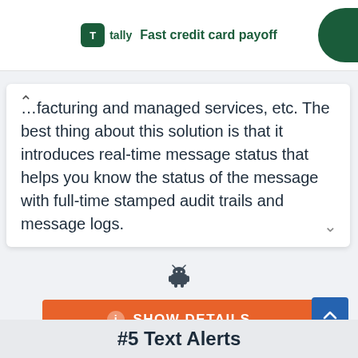[Figure (screenshot): Tally app advertisement banner with logo and 'Fast credit card payoff' text]
...manufacturing and managed services, etc. The best thing about this solution is that it introduces real-time message status that helps you know the status of the message with full-time stamped audit trails and message logs.
[Figure (illustration): Android robot icon]
SHOW DETAILS
#5 Text Alerts